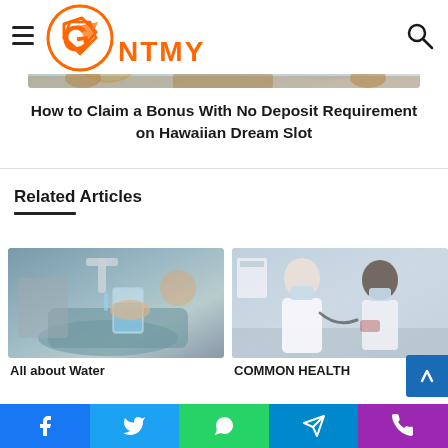NTMY
[Figure (photo): Hawaiian Dream Slot game banner image with decorative golden and blue elements and 'Hawaiian Dream' text watermark]
How to Claim a Bonus With No Deposit Requirement on Hawaiian Dream Slot
Related Articles
[Figure (photo): Hand holding a glass of water under a kitchen tap]
All about Water
[Figure (photo): Doctor and patient consultation with face masks in a medical setting]
COMMON HEALTH